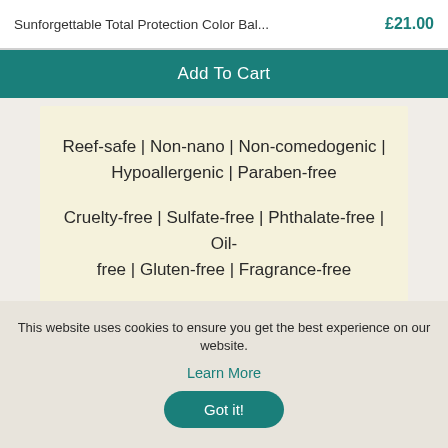Sunforgettable Total Protection Color Bal... £21.00
Add To Cart
Reef-safe | Non-nano | Non-comedogenic | Hypoallergenic | Paraben-free

Cruelty-free | Sulfate-free | Phthalate-free | Oil-free | Gluten-free | Fragrance-free
This website uses cookies to ensure you get the best experience on our website.
Learn More
Got it!